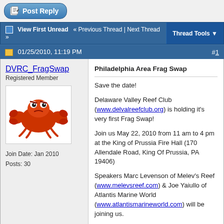[Figure (screenshot): Forum post reply button - blue rounded button with pencil/paper icon and text 'Post Reply']
View First Unread  « Previous Thread | Next Thread »    Thread Tools
01/25/2010, 11:19 PM    #1
DVRC_FragSwap
Registered Member
Join Date: Jan 2010
Posts: 30
[Figure (illustration): Cartoon angry red crab avatar image]
Philadelphia Area Frag Swap

Save the date!

Delaware Valley Reef Club (www.delvalreefclub.org) is holding it's very first Frag Swap!

Join us May 22, 2010 from 11 am to 4 pm at the King of Prussia Fire Hall (170 Allendale Road, King Of Prussia, PA 19406)

Speakers Marc Levenson of Melev's Reef (www.melevsreef.com) & Joe Yaiullo of Atlantis Marine World (www.atlantismarineworld.com) will be joining us.

There are loads of raffle prizes waiting to be won including an MP10, a Pinnacle RO/DI system, and a Warner Marine Reactor